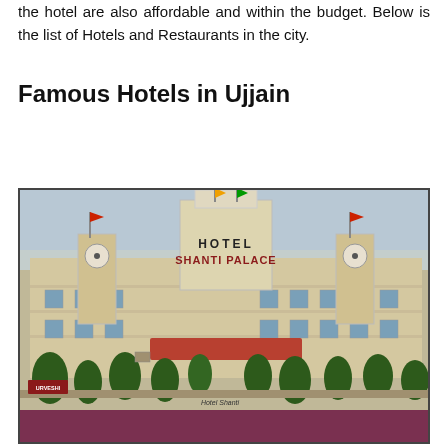the hotel are also affordable and within the budget. Below is the list of Hotels and Restaurants in the city.
Famous Hotels in Ujjain
[Figure (photo): Exterior photograph of Hotel Shanti Palace in Ujjain, showing a large cream/beige building with central tower, clock towers on either side, flags on top, a row of green trees in front, a red canopy over the entrance, and a purple/maroon bottom strip. Signs read 'HOTEL SHANTI PALACE'. A logo reading 'URVESHI' is visible at bottom left.]